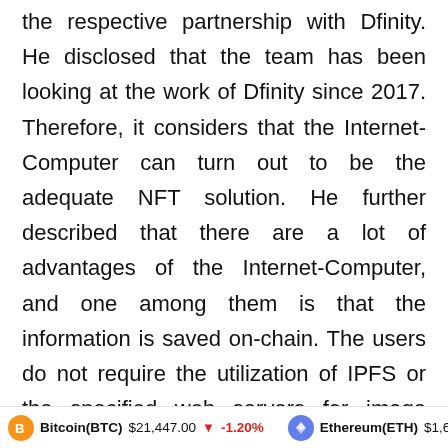the respective partnership with Dfinity. He disclosed that the team has been looking at the work of Dfinity since 2017. Therefore, it considers that the Internet-Computer can turn out to be the adequate NFT solution. He further described that there are a lot of advantages of the Internet-Computer, and one among them is that the information is saved on-chain. The users do not require the utilization of IPFS or the specified web servers for image hosting.
Bitcoin(BTC) $21,447.00 ↓ -1.20%   Ethereum(ETH) $1,661.93